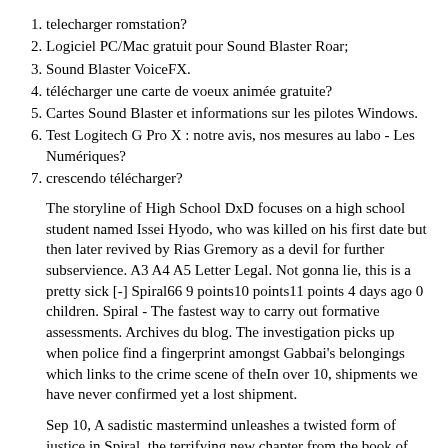telecharger romstation?
Logiciel PC/Mac gratuit pour Sound Blaster Roar;
Sound Blaster VoiceFX.
télécharger une carte de voeux animée gratuite?
Cartes Sound Blaster et informations sur les pilotes Windows.
Test Logitech G Pro X : notre avis, nos mesures au labo - Les Numériques?
crescendo télécharger?
The storyline of High School DxD focuses on a high school student named Issei Hyodo, who was killed on his first date but then later revived by Rias Gremory as a devil for further subservience. A3 A4 A5 Letter Legal. Not gonna lie, this is a pretty sick [-] Spiral66 9 points10 points11 points 4 days ago 0 children. Spiral - The fastest way to carry out formative assessments. Archives du blog. The investigation picks up when police find a fingerprint amongst Gabbai's belongings which links to the crime scene of theIn over 10, shipments we have never confirmed yet a lost shipment.
Sep 10, A sadistic mastermind unleashes a twisted form of justice in Spiral, the terrifying new chapter from the book of Saw.